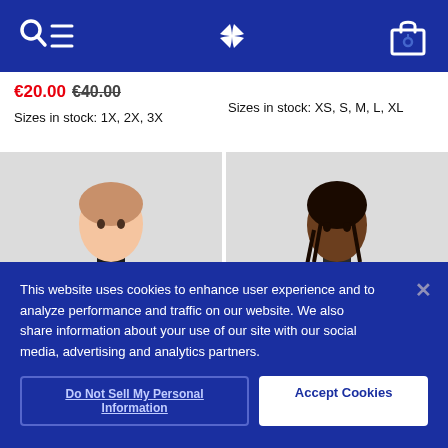Navigation bar with search/menu icon, brand logo, and shopping bag icon
€20.00 €40.00
Sizes in stock: 1X, 2X, 3X
Sizes in stock: XS, S, M, L, XL
[Figure (photo): Model wearing a black Adidas zip-up training jacket with three white stripes on the sleeve, light gray background]
[Figure (photo): Model wearing a dark gray Nike zip-up training jacket, light gray background]
This website uses cookies to enhance user experience and to analyze performance and traffic on our website. We also share information about your use of our site with our social media, advertising and analytics partners.
Do Not Sell My Personal Information
Accept Cookies